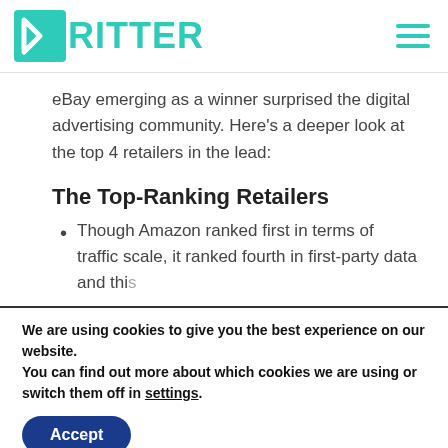KRITTER
eBay emerging as a winner surprised the digital advertising community. Here's a deeper look at the top 4 retailers in the lead:
The Top-Ranking Retailers
Though Amazon ranked first in terms of traffic scale, it ranked fourth in first-party data and this
We are using cookies to give you the best experience on our website.
You can find out more about which cookies we are using or switch them off in settings.
Accept